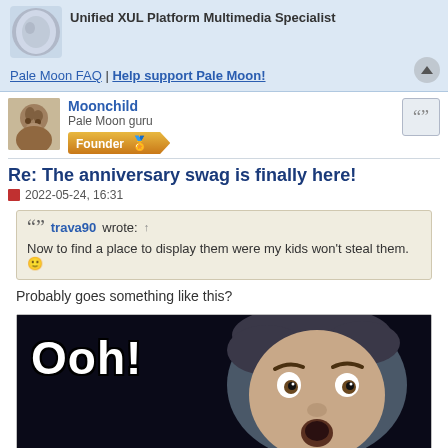[Figure (screenshot): Forum top section with user avatar (planet/moon graphic), title 'Unified XUL Platform Multimedia Specialist', links to Pale Moon FAQ and Help support Pale Moon!]
Pale Moon FAQ | Help support Pale Moon!
[Figure (photo): Forum post user avatar - cat/animal photo]
Moonchild
Pale Moon guru
Founder
Re: The anniversary swag is finally here!
2022-05-24, 16:31
trava90 wrote: ↑
Now to find a place to display them were my kids won't steal them. 🙂
Probably goes something like this?
[Figure (photo): Meme image showing a man with surprised/excited expression with 'Ooh!' text overlay in white Impact font on dark background]